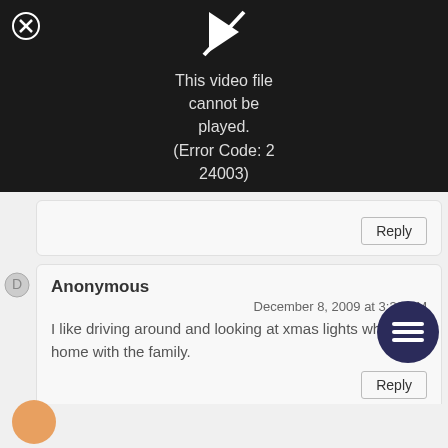[Figure (screenshot): Video player showing error: 'This video file cannot be played. (Error Code: 2 24003)' on black background with close button and broken video icon]
Reply
Anonymous
December 8, 2009 at 3:39 PM
I like driving around and looking at xmas lights when home with the family.
Reply